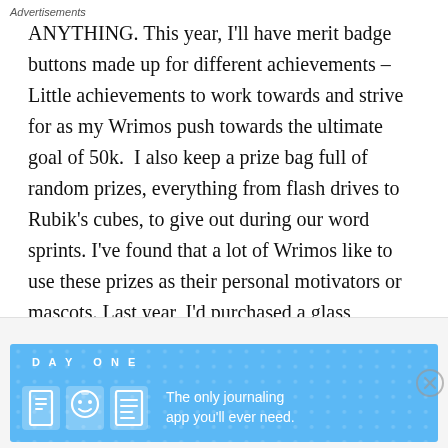ANYTHING. This year, I'll have merit badge buttons made up for different achievements – Little achievements to work towards and strive for as my Wrimos push towards the ultimate goal of 50k.  I also keep a prize bag full of random prizes, everything from flash drives to Rubik's cubes, to give out during our word sprints. I've found that a lot of Wrimos like to use these prizes as their personal motivators or mascots. Last year, I'd purchased a glass paperweight shaped like a squirrel for fifty cents from a Goodwill, and it surprisingly became one of the most sought after prizes at our Write Ins. While I worked on last year's novel, I had a stuffed vampire mascot that
Advertisements
[Figure (illustration): Day One journaling app advertisement banner with blue background, app icons, and tagline 'The only journaling app you'll ever need.']